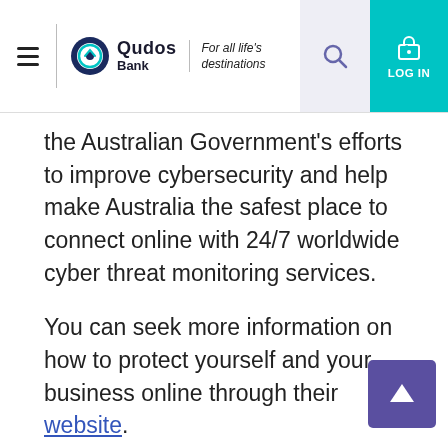Qudos Bank — For all life's destinations
the Australian Government's efforts to improve cybersecurity and help make Australia the safest place to connect online with 24/7 worldwide cyber threat monitoring services.
You can seek more information on how to protect yourself and your business online through their website.
ScamWatch
Report the fraud or scam to ScamWatch to assist the ACCC in monitoring scam trends and taking action where appropriate, including working with industry and looking for innovative ways to disrupt scams. This also assists in keeping Australians